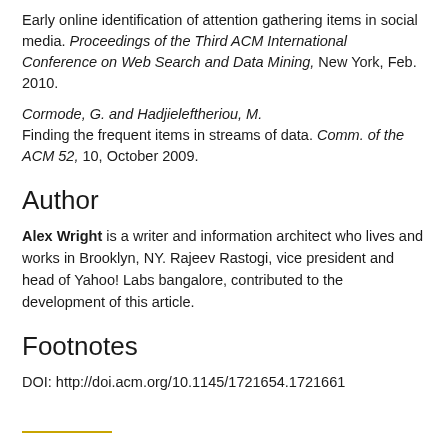Early online identification of attention gathering items in social media. Proceedings of the Third ACM International Conference on Web Search and Data Mining, New York, Feb. 2010.
Cormode, G. and Hadjieleftheriou, M. Finding the frequent items in streams of data. Comm. of the ACM 52, 10, October 2009.
Author
Alex Wright is a writer and information architect who lives and works in Brooklyn, NY. Rajeev Rastogi, vice president and head of Yahoo! Labs bangalore, contributed to the development of this article.
Footnotes
DOI: http://doi.acm.org/10.1145/1721654.1721661